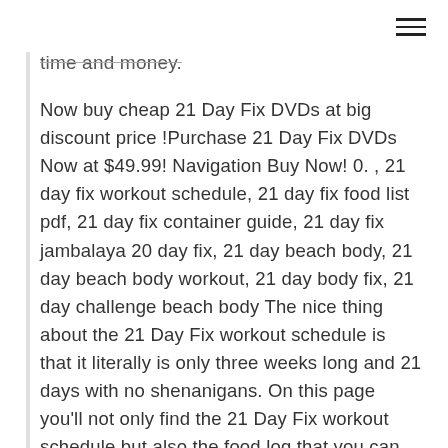time and money.
Now buy cheap 21 Day Fix DVDs at big discount price !Purchase 21 Day Fix DVDs Now at $49.99! Navigation Buy Now! 0. , 21 day fix workout schedule, 21 day fix food list pdf, 21 day fix container guide, 21 day fix jambalaya 20 day fix, 21 day beach body, 21 day beach body workout, 21 day body fix, 21 day challenge beach body The nice thing about the 21 Day Fix workout schedule is that it literally is only three weeks long and 21 days with no shenanigans. On this page you'll not only find the 21 Day Fix workout schedule but also the food log that you can use for your daily tracking.